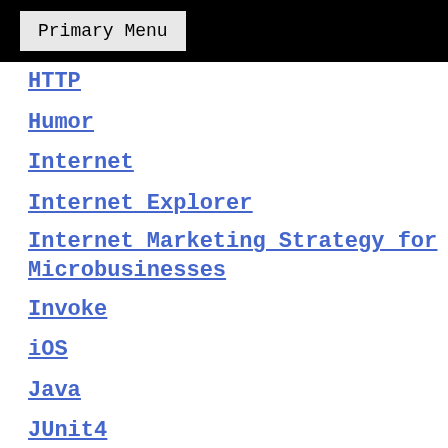Primary Menu
HTTP
Humor
Internet
Internet Explorer
Internet Marketing Strategy for Microbusinesses
Invoke
iOS
Java
JUnit4
Kafka
Linux
Logging
LVM
Mac OS